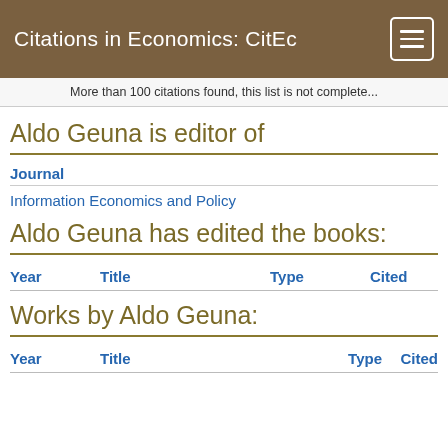Citations in Economics: CitEc
More than 100 citations found, this list is not complete...
Aldo Geuna is editor of
Journal
Information Economics and Policy
Aldo Geuna has edited the books:
| Year | Title | Type | Cited |
| --- | --- | --- | --- |
Works by Aldo Geuna:
| Year | Title | Type | Cited |
| --- | --- | --- | --- |